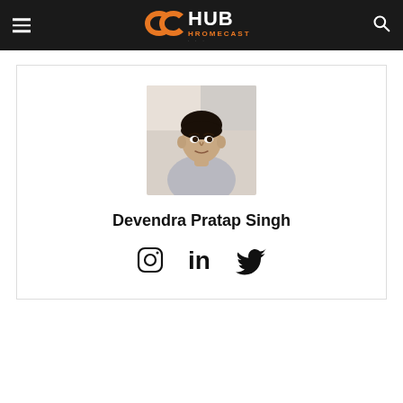CCHub Hromecast
[Figure (photo): Profile photo of Devendra Pratap Singh - young man with dark hair]
Devendra Pratap Singh
[Figure (infographic): Social media icons: Instagram, LinkedIn, Twitter]